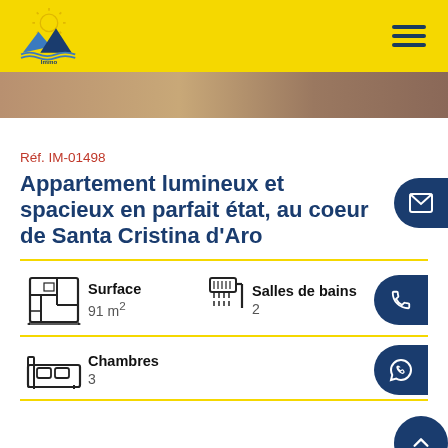Immo Rio de Oro - Navigation header
[Figure (photo): Partial photo strip of property]
Réf. IM-01498
Appartement lumineux et spacieux en parfait état, au coeur de Santa Cristina d'Aro
Surface 91 m²
Salles de bains 2
Chambres 3